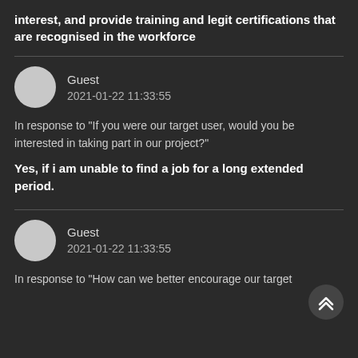interest, and provide training and legit certifications that are recognised in the workforce
Guest
2021-01-22 11:33:55
In response to "If you were our target user, would you be interested in taking part in our project?"
Yes, if i am unable to find a job for a long extended period.
Guest
2021-01-22 11:33:55
In response to "How can we better encourage our target